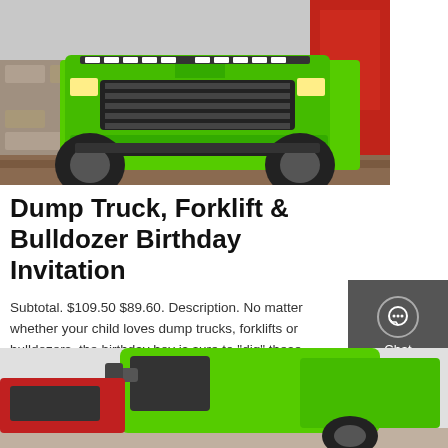[Figure (photo): Front view of a bright green dump truck parked near a stone wall, with red display backdrop visible on the right side.]
Dump Truck, Forklift & Bulldozer Birthday Invitation
Subtotal. $109.50 $89.60. Description. No matter whether your child loves dump trucks, forklifts or bulldozers, the birthday boy is sure to "dig" these birthday invitations (we're sorry, we couldn't resist). Your birthday party invitations will be printed on premium recycled paper.
GET A QUOTE
[Figure (photo): Partial view of a green truck cab from a low angle showing the side mirror and part of the green body.]